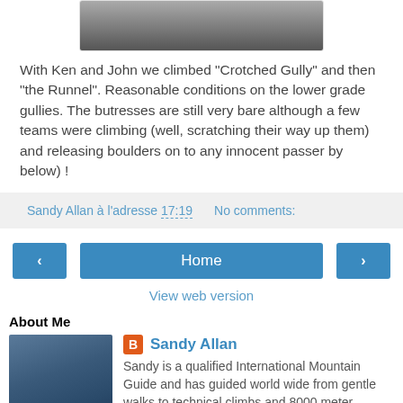[Figure (photo): Partial photo of a mountain or rock climbing scene, top portion visible]
With Ken and John we climbed "Crotched Gully" and then "the Runnel". Reasonable conditions on the lower grade gullies. The butresses are still very bare although a few teams were climbing (well, scratching their way up them) and releasing boulders on to any innocent passer by below) !
Sandy Allan à l'adresse 17:19   No comments:
‹  Home  ›
View web version
About Me
[Figure (photo): Photo of Sandy Allan climbing on a rock face, wearing a blue jacket]
Sandy Allan
Sandy is a qualified International Mountain Guide and has guided world wide from gentle walks to technical climbs and 8000 meter summits, including Mount